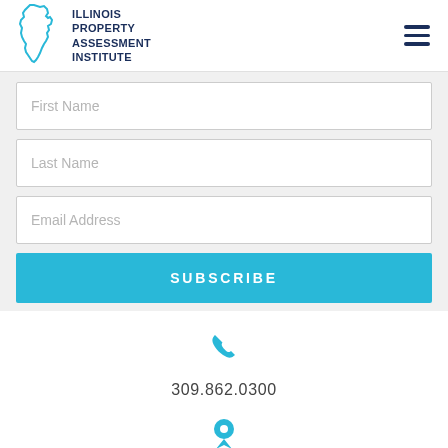[Figure (logo): Illinois Property Assessment Institute logo with Illinois state outline and bold navy text]
First Name
Last Name
Email Address
SUBSCRIBE
[Figure (illustration): Blue phone handset icon]
309.862.0300
[Figure (illustration): Blue map location pin icon]